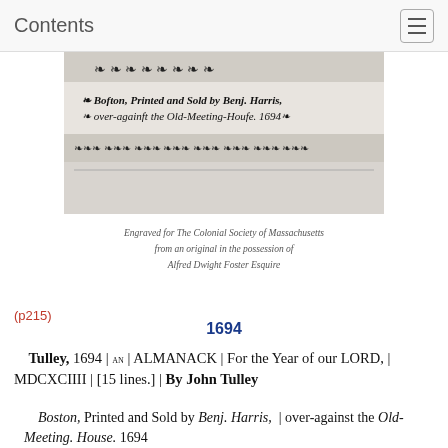Contents
[Figure (photo): Scanned image of an old printed almanac title page bottom section showing: 'Boston, Printed and Sold by Benj. Harris, over-against the Old-Meeting-House. 1694' with decorative floral/ornamental borders and printer's marks]
Engraved for The Colonial Society of Massachusetts from an original in the possession of Alfred Dwight Foster Esquire
(p215)
1694
Tulley, 1694 | AN | ALMANACK | For the Year of our LORD, | MDCXCIIII | [15 lines.] | By John Tulley
Boston, Printed and Sold by Benj. Harris, | over-against the Old-Meeting. House. 1694